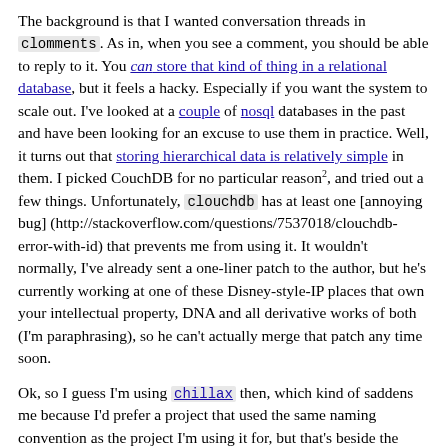The background is that I wanted conversation threads in clomments. As in, when you see a comment, you should be able to reply to it. You can store that kind of thing in a relational database, but it feels a hacky. Especially if you want the system to scale out. I've looked at a couple of nosql databases in the past and have been looking for an excuse to use them in practice. Well, it turns out that storing hierarchical data is relatively simple in them. I picked CouchDB for no particular reason2, and tried out a few things. Unfortunately, clouchdb has at least one [annoying bug] (http://stackoverflow.com/questions/7537018/clouchdb-error-with-id) that prevents me from using it. It wouldn't normally, I've already sent a one-liner patch to the author, but he's currently working at one of these Disney-style-IP places that own your intellectual property, DNA and all derivative works of both (I'm paraphrasing), so he can't actually merge that patch any time soon.
Ok, so I guess I'm using chillax then, which kind of saddens me because I'd prefer a project that used the same naming convention as the project I'm using it for, but that's beside the point. In either case, interesting